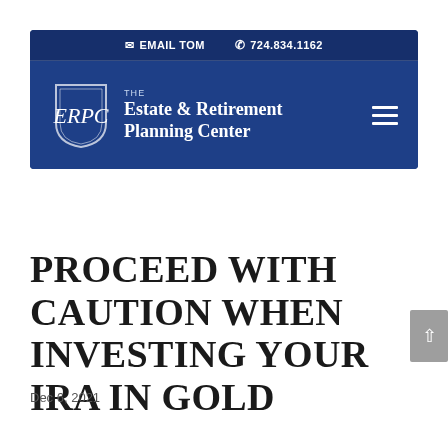✉ EMAIL TOM  ✆ 724.834.1162
[Figure (logo): The Estate & Retirement Planning Center logo with shield emblem (ERPC initials in cursive) on a dark blue background, with hamburger menu icon on the right]
PROCEED WITH CAUTION WHEN INVESTING YOUR IRA IN GOLD
Dec 6, 2021